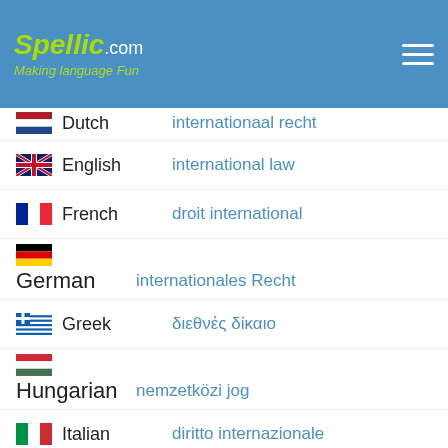Spellic.com - Making language Fun
Dutch - internationaal recht
English - international law
French - droit international
German - internationales Recht
Greek - διεθνές δίκαιο
Hungarian - nemzetközi jog
Italian - diritto internazionale
Latvian - starptautisko tiesību akti
Polish - prawo międzynarodowe
Portuguese - direito internacional